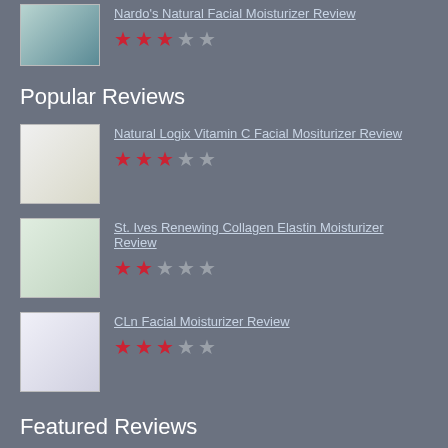[Figure (photo): Product image for Nardo's Natural Facial Moisturizer]
Nardo's Natural Facial Moisturizer Review
★★★☆☆ (3 out of 5 stars)
Popular Reviews
[Figure (photo): Product image for Natural Logix Vitamin C Facial Moisturizer]
Natural Logix Vitamin C Facial Mositurizer Review
★★★☆☆ (3 out of 5 stars)
[Figure (photo): Product image for St. Ives Renewing Collagen Elastin Moisturizer]
St. Ives Renewing Collagen Elastin Moisturizer Review
★★☆☆☆ (2 out of 5 stars)
[Figure (photo): Product image for CLn Facial Moisturizer]
CLn Facial Moisturizer Review
★★★☆☆ (3 out of 5 stars)
Featured Reviews